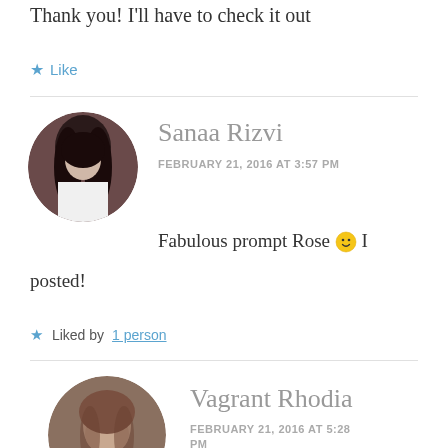Thank you! I'll have to check it out
★ Like
Sanaa Rizvi
FEBRUARY 21, 2016 AT 3:57 PM
[Figure (photo): Circular profile photo of Sanaa Rizvi, a young woman with long dark hair]
Fabulous prompt Rose 🙂 I posted!
★ Liked by 1 person
Vagrant Rhodia
FEBRUARY 21, 2016 AT 5:28 PM
[Figure (photo): Circular profile photo of Vagrant Rhodia, a person with light complexion]